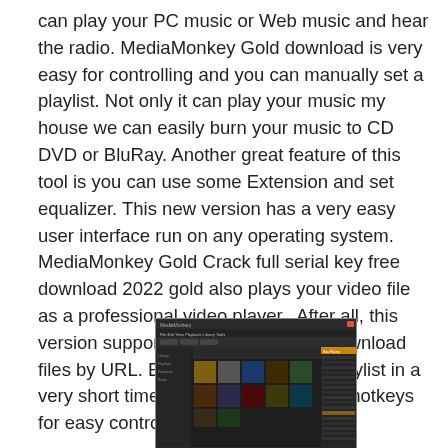can play your PC music or Web music and hear the radio. MediaMonkey Gold download is very easy for controlling and you can manually set a playlist. Not only it can play your music my house we can easily burn your music to CD DVD or BluRay. Another great feature of this tool is you can use some Extension and set equalizer. This new version has a very easy user interface run on any operating system. MediaMonkey Gold Crack full serial key free download 2022 gold also plays your video file as a professional video player.. After all, this version supports quick Search and download files by URL. Easily export your full playlist in a very short time. This tool also support hotkeys for easy control.WIKIPEDIA LINK
[Figure (screenshot): Screenshot of MediaMonkey Gold application showing a dark-themed music library interface with album art thumbnails and a track listing panel on the right.]